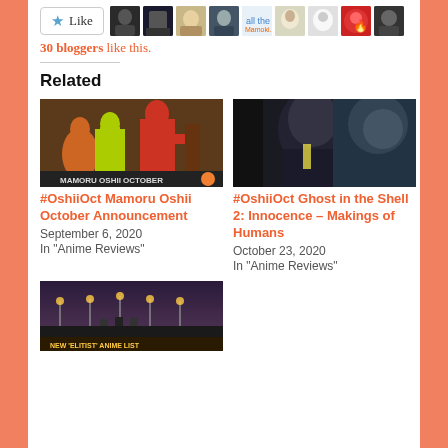30 bloggers like this.
Related
[Figure (photo): Mamoru Oshii October silhouette promo image with text MAMORU OSHII OCTOBER]
#OshiiOct Mamoru Oshii October Announcement
September 6, 2020
In "Anime Reviews"
[Figure (photo): Ghost in the Shell 2 Innocence dark anime scene]
#OshiiOct Ghost in the Shell 2: Innocence – Makings of Humans
October 23, 2020
In "Anime Reviews"
[Figure (photo): New Elitist Anime List – night scene with lamps and figures]